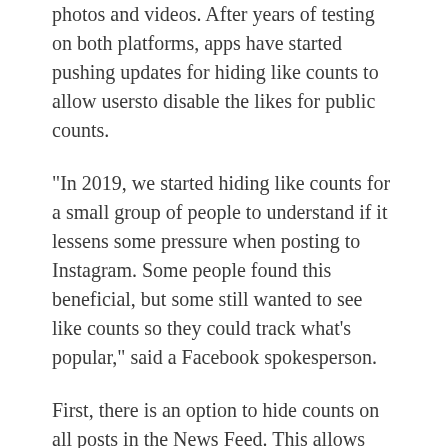photos and videos. After years of testing on both platforms, apps have started pushing updates for hiding like counts to allow usersto disable the likes for public counts.
"In 2019, we started hiding like counts for a small group of people to understand if it lessens some pressure when posting to Instagram. Some people found this beneficial, but some still wanted to see like counts so they could track what's popular," said a Facebook spokesperson.
First, there is an option to hide counts on all posts in the News Feed. This allows you to focus on photos and videos rather than popularity of a given on the post. The toggle can be found in the new posts section in Settings -> Privacy and applies instantly.For individual posts, you can turn off like